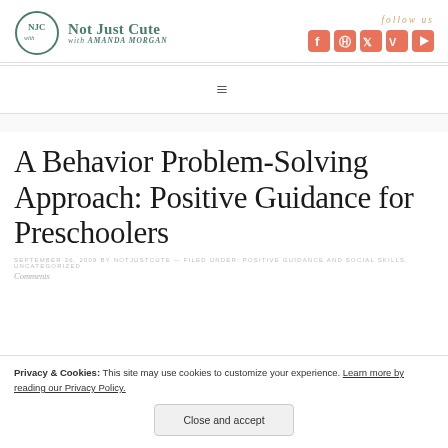Not Just Cute with Amanda Morgan — follow us
A Behavior Problem-Solving Approach: Positive Guidance for Preschoolers
SEPTEMBER 26, 2009 BY NOTJUSTCUTE — FILED UNDER: POSITIVE GUIDANCE AND SOCIAL SKILLS, UNCATEGORIZED
Comments
Privacy & Cookies: This site may use cookies to customize your experience. Learn more by reading our Privacy Policy.
Close and accept